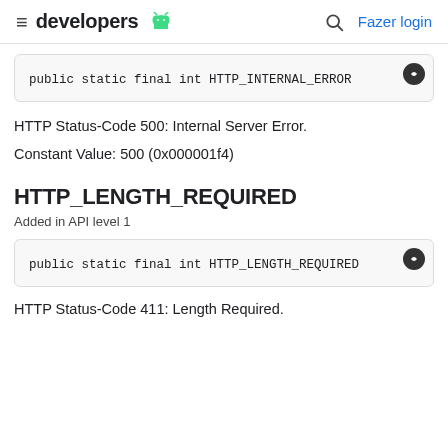≡ developers 🤖  🔍 Fazer login
public static final int HTTP_INTERNAL_ERROR
HTTP Status-Code 500: Internal Server Error.
Constant Value: 500 (0x000001f4)
HTTP_LENGTH_REQUIRED
Added in API level 1
public static final int HTTP_LENGTH_REQUIRED
HTTP Status-Code 411: Length Required.